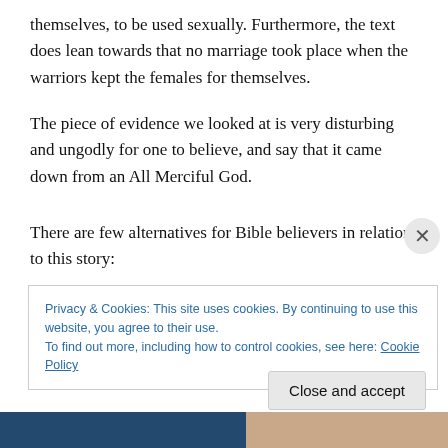themselves, to be used sexually. Furthermore, the text does lean towards that no marriage took place when the warriors kept the females for themselves.
The piece of evidence we looked at is very disturbing and ungodly for one to believe, and say that it came down from an All Merciful God.
There are few alternatives for Bible believers in relation to this story:
Privacy & Cookies: This site uses cookies. By continuing to use this website, you agree to their use.
To find out more, including how to control cookies, see here: Cookie Policy